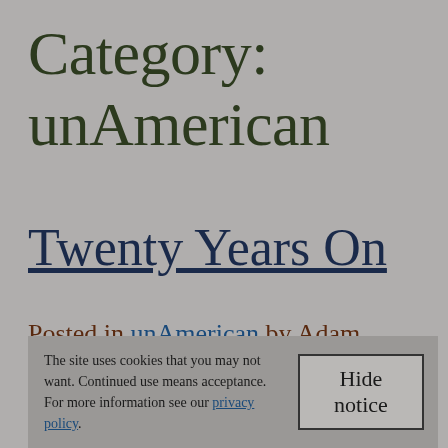Category: unAmerican
Twenty Years On
Posted in unAmerican by Adam 11 September 2021
The site uses cookies that you may not want. Continued use means acceptance. For more information see our privacy policy.